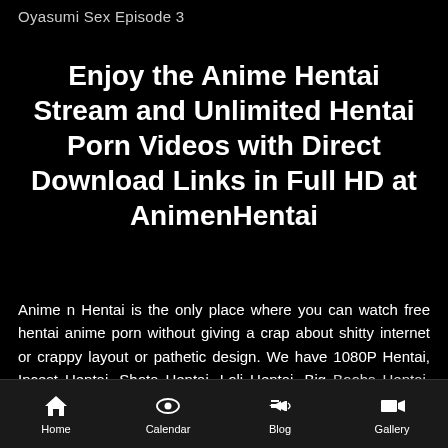Oyasumi Sex Episode 3
Enjoy the Anime Hentai Stream and Unlimited Hentai Porn Videos with Direct Download Links in Full HD at AnimenHentai
Anime n Hentai is the only place where you can watch free hentai anime porn without giving a crap about shitty internet or crappy layout or pathetic design. We have 1080P Hentai, Incest Hentai, Shota Hentai, Loli Hentai, Big Boobs Hentai, Uncensored Hentai, Shota Hentai, Pregnant
Home  Calendar  Blog  Gallery